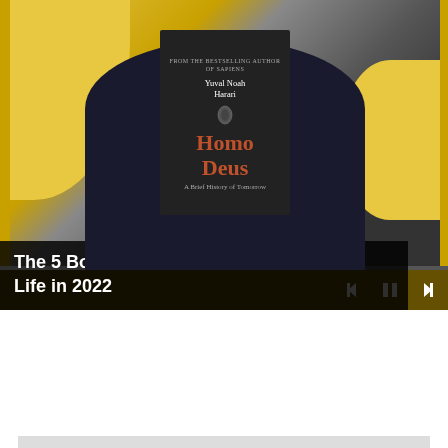[Figure (screenshot): Video thumbnail showing a person holding a book titled 'Homo Deus' by Yuval Noah Harari, with yellow decorative blobs in background, playback controls visible, and video title overlay 'The 5 Books To Read To Transform Your Life in 2022']
Privacy & Cookies: This site uses cookies. By continuing to use this website, you agree to their use.
To find out more, including how to control cookies, see here: Cookie Policy
Close and accept